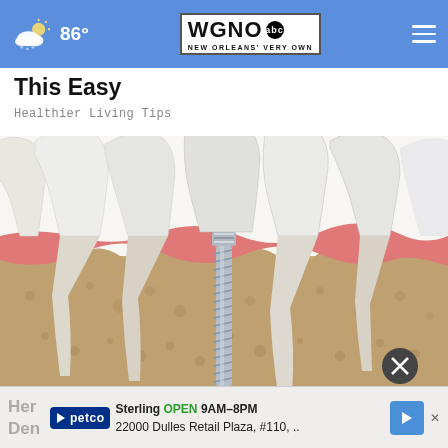86° WGNO abc NEW ORLEANS' VERY OWN
This Easy
Healthier Living Tips
[Figure (illustration): Medical illustration showing a cross-section of human teeth and jaw bone, with a dental implant (titanium screw with crown) inserted between natural teeth. The image shows the tooth crowns above the gum line, the pink gum tissue, the tan/beige bone structure, and the threaded metal implant post in the center.]
Her Den
Sterling OPEN 9AM–8PM 22000 Dulles Retail Plaza, #110, ..